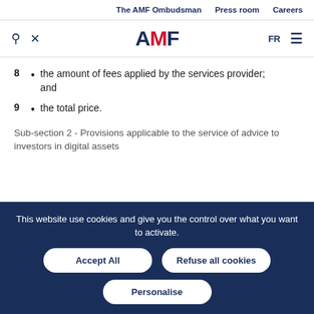The AMF Ombudsman   Press room   Careers
[Figure (logo): AMF logo with search icon, tools icon, FR language selector and hamburger menu]
8 • the amount of fees applied by the services provider; and
9 • the total price.
Sub-section 2 - Provisions applicable to the service of advice to investors in digital assets
This website use cookies and give you the control over what you want to activate.
Accept All   Refuse all cookies   Personalise